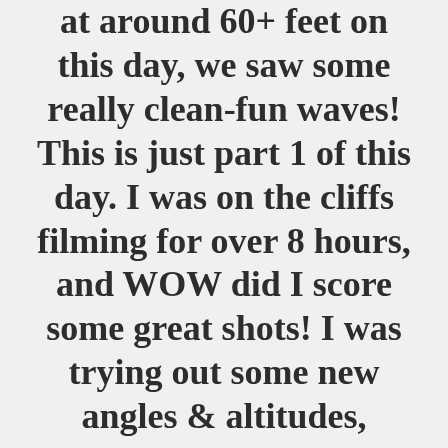at around 60+ feet on this day, we saw some really clean-fun waves! This is just part 1 of this day. I was on the cliffs filming for over 8 hours, and WOW did I score some great shots! I was trying out some new angles & altitudes, and I feel like I really